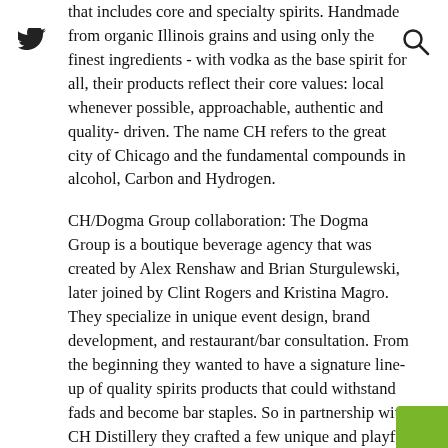that includes core and specialty spirits. Handmade from organic Illinois grains and using only the finest ingredients - with vodka as the base spirit for all, their products reflect their core values: local whenever possible, approachable, authentic and quality- driven. The name CH refers to the great city of Chicago and the fundamental compounds in alcohol, Carbon and Hydrogen.
CH/Dogma Group collaboration: The Dogma Group is a boutique beverage agency that was created by Alex Renshaw and Brian Sturgulewski, later joined by Clint Rogers and Kristina Magro. They specialize in unique event design, brand development, and restaurant/bar consultation. From the beginning they wanted to have a signature line-up of quality spirits products that could withstand fads and become bar staples. So in partnership with CH Distillery they crafted a few unique and playful products that could